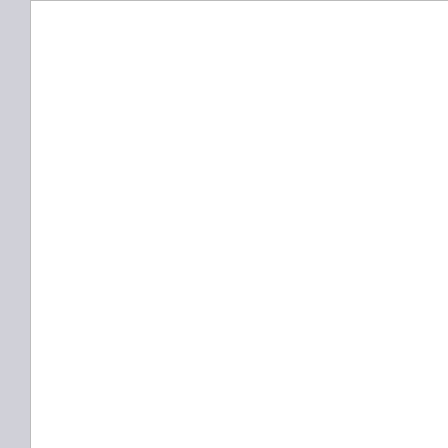[Figure (photo): White empty product image box with border]
Увеличить картинку
Информация о производителе
| Компания: | Shantou Yuanfeng Industrial Co., Ltd. |
| Адрес: | Zhongzhai Industrial Zone, Heping Town, Chaoyang District, Shantou, Guangdong, China (Mainland) Zip: 515154 |
2mm,3mm,0mm ABSInner pac
[Figure (illustration): Shopping basket icon]
От
[Figure (other): Right side light blue panel]